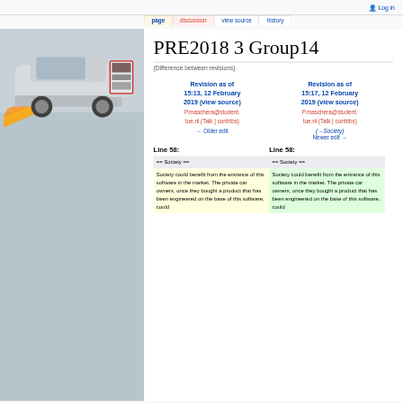Log in
page | discussion | view source | history
[Figure (illustration): Car with distance sensor/LiDAR illustration showing a silver car with orange beam on left panel]
PRE2018 3 Group14
(Difference between revisions)
| Revision as of 15:13, 12 February 2019 (view source) | Revision as of 15:17, 12 February 2019 (view source) |
| --- | --- |
| P.maschera@student.tue.nl (Talk | contribs) | P.maschera@student.tue.nl (Talk | contribs) |
| ← Older edit | (→Society)
Newer edit → |
Line 58:
Line 58:
| == Society == | == Society == |
| --- | --- |
| Society could benefit from the entrance of this software in the market. The private car owners, once they bought a product that has been engineered on the base of this software, could | Society could benefit from the entrance of this software in the market. The private car owners, once they bought a product that has been engineered on the base of this software, could |